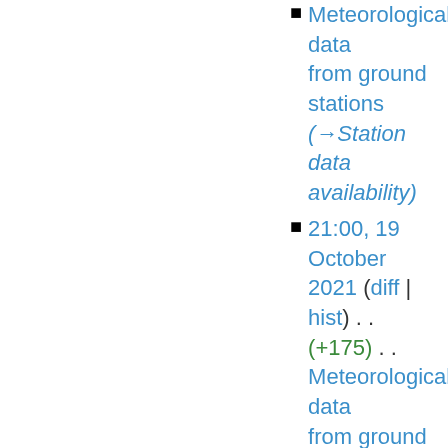Meteorological data from ground stations (→Station data availability)
21:00, 19 October 2021 (diff | hist) . . (+175) . . Meteorological data from ground stations (→Station data availability)
19:19, 19 October 2021 (diff | hist) . . (+35) . . Meteorological data from ground stations (→Duration of sunshine)
19:18, 19 October 2021